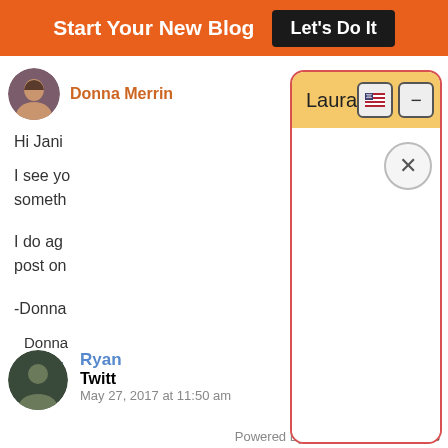Start Your New Blog  Let's Do It
Donna Merlin
Hi Jani
I see yo
someth
I do ag
post on
-Donna
Donna
Adver
[Figure (screenshot): Chat widget overlay with orange-yellow header showing 'Laura', two icon buttons (flag and minus), a close X button, and empty white body area. The widget has a red border and rounded corners.]
Ryan
Twitt
May 27, 2017 at 11:50 am
Powered By Steady Stream Leads